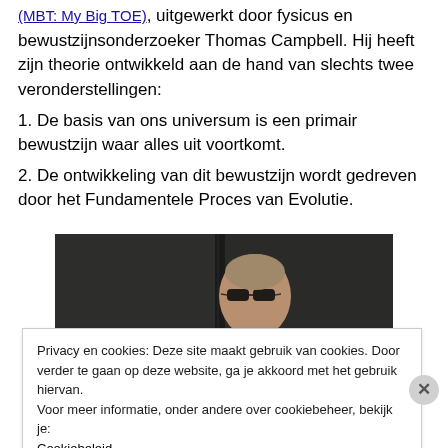(MBT: My Big TOE), uitgewerkt door fysicus en bewustzijnsonderzoeker Thomas Campbell. Hij heeft zijn theorie ontwikkeld aan de hand van slechts twee veronderstellingen:
1. De basis van ons universum is een primair bewustzijn waar alles uit voortkomt.
2. De ontwikkeling van dit bewustzijn wordt gedreven door het Fundamentele Proces van Evolutie.
[Figure (photo): Dark-toned photo of a person wearing sunglasses, shown from shoulders up against a grey/dark background]
Privacy en cookies: Deze site maakt gebruik van cookies. Door verder te gaan op deze website, ga je akkoord met het gebruik hiervan. Voor meer informatie, onder andere over cookiebeheer, bekijk je: Cookiebeleid